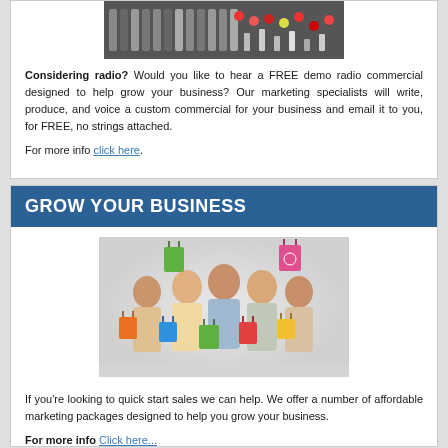[Figure (photo): Close-up photo of a mixing board / audio console with colorful knobs and faders]
Considering radio? Would you like to hear a FREE demo radio commercial designed to help grow your business? Our marketing specialists will write, produce, and voice a custom commercial for your business and email it to you, for FREE, no strings attached.
For more info click here.
GROW YOUR BUSINESS
[Figure (photo): Group of happy shoppers holding colorful shopping bags]
If you're looking to quick start sales we can help. We offer a number of affordable marketing packages designed to help you grow your business.
For more info Click here...